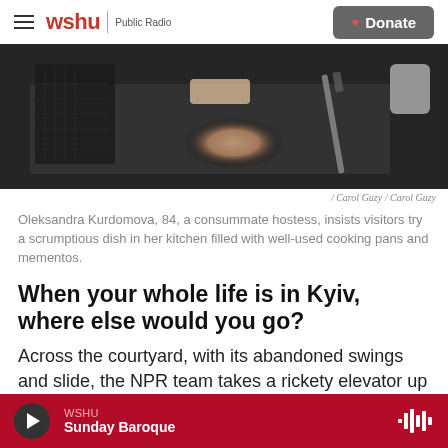wshu | Public Radio  Donate
[Figure (photo): Close-up of an elderly person's hand on a kitchen cutting board with a knife and a cup nearby, dark kitchen setting.]
/ Carol Guzy / Carol Guzy
Oleksandra Kurdomova, 84, a consummate hostess, insists visitors try a scrumptious dish in her kitchen filled with well-used cooking pans and mementos.
When your whole life is in Kyiv, where else would you go?
Across the courtyard, with its abandoned swings and slide, the NPR team takes a rickety elevator up
WSHU  Sunday Baroque